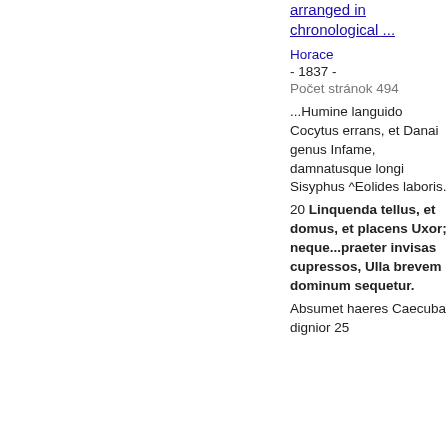arranged in chronological ...
Horace - 1837 - Počet stránok 494
...Humine languido Cocytus errans, et Danai genus Infame, damnatusque longi Sisyphus ^Eolides laboris. 20 Linquenda tellus, et domus, et placens Uxor; neque...praeter invisas cupressos, Ulla brevem dominum sequetur. Absumet haeres Caecuba dignior 25